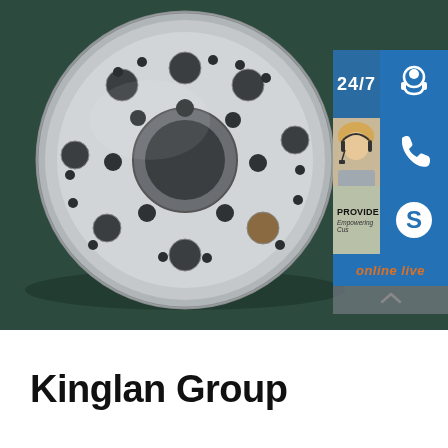[Figure (photo): Large industrial flywheel or rotor disc made of polished metal with multiple circular holes/bores, resting on a dark green/teal workshop floor. Overlaid with a customer service sidebar showing 24/7 support icons (headset, phone, Skype) and an 'online live' button, plus a partially visible chat operator image. Text overlays: '24/7', 'PROVIDE', 'Empowering Cus[tomers]', 'online live'.]
Kinglan Group